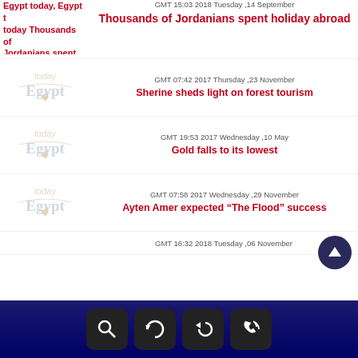Egypt today, Egypt today Thousands of Jordanians spent holiday abroad
GMT 15:03 2018 Tuesday ,14 September
Thousands of Jordanians spent holiday abroad
[Figure (logo): Egypt Today logo - watermark style]
GMT 07:42 2017 Thursday ,23 November
Sherine sheds light on forest tourism
[Figure (logo): Egypt Today logo - watermark style]
GMT 19:53 2017 Wednesday ,10 May
Gold falls to its lowest
[Figure (logo): Egypt Today logo - watermark style]
GMT 07:58 2017 Wednesday ,29 November
Ayten Amer expected “The Flood” success
GMT 16:32 2018 Tuesday, 06 November